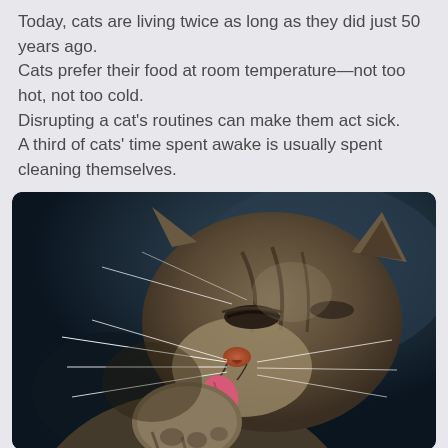Today, cats are living twice as long as they did just 50 years ago.
Cats prefer their food at room temperature—not too hot, not too cold.
Disrupting a cat's routines can make them act sick.
A third of cats' time spent awake is usually spent cleaning themselves.
[Figure (photo): Close-up photograph of a tabby cat licking its paw, eyes partially closed, with long white whiskers visible against a dark blurred background. The cat's pink tongue is extended toward its raised paw.]